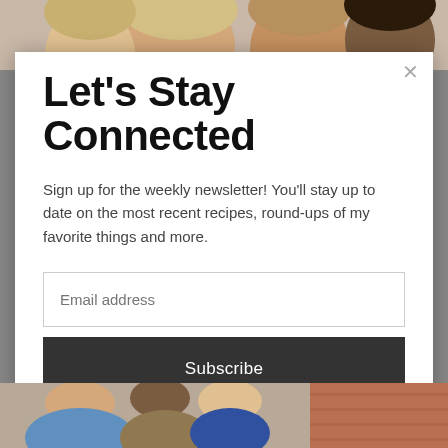[Figure (photo): Top portion of a photo showing people's faces, partially cropped]
Let's Stay Connected
Sign up for the weekly newsletter! You'll stay up to date on the most recent recipes, round-ups of my favorite things and more.
[Figure (photo): Bottom portion of a photo showing people outdoors, partially cropped]